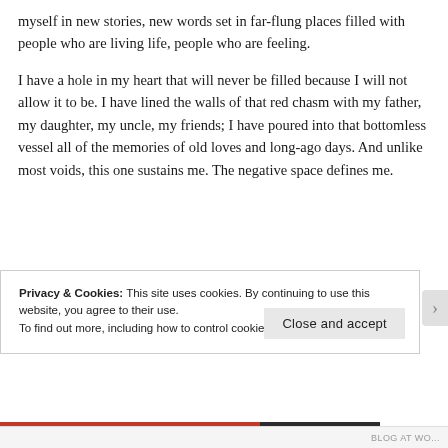myself in new stories, new words set in far-flung places filled with people who are living life, people who are feeling.
I have a hole in my heart that will never be filled because I will not allow it to be. I have lined the walls of that red chasm with my father, my daughter, my uncle, my friends; I have poured into that bottomless vessel all of the memories of old loves and long-ago days. And unlike most voids, this one sustains me. The negative space defines me.
Privacy & Cookies: This site uses cookies. By continuing to use this website, you agree to their use.
To find out more, including how to control cookies, see here: Cookie Policy
Close and accept